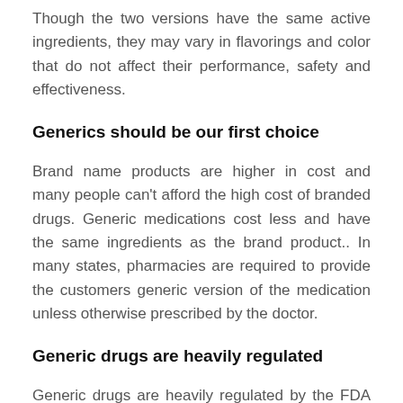Though the two versions have the same active ingredients, they may vary in flavorings and color that do not affect their performance, safety and effectiveness.
Generics should be our first choice
Brand name products are higher in cost and many people can't afford the high cost of branded drugs. Generic medications cost less and have the same ingredients as the brand product.. In many states, pharmacies are required to provide the customers generic version of the medication unless otherwise prescribed by the doctor.
Generic drugs are heavily regulated
Generic drugs are heavily regulated by the FDA and